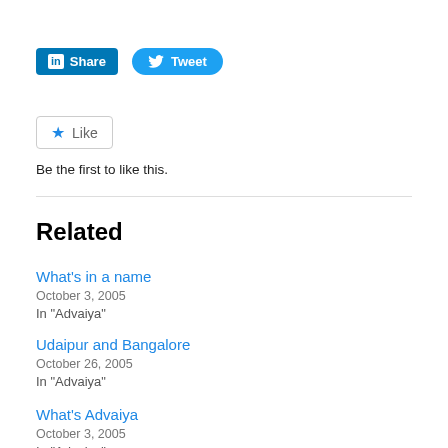[Figure (other): Social sharing buttons: LinkedIn Share button (blue rectangle) and Tweet button (blue rounded pill with Twitter bird icon)]
[Figure (other): Like button with star icon and text 'Like']
Be the first to like this.
Related
What's in a name
October 3, 2005
In "Advaiya"
Udaipur and Bangalore
October 26, 2005
In "Advaiya"
What's Advaiya
October 3, 2005
In "Advaiya"